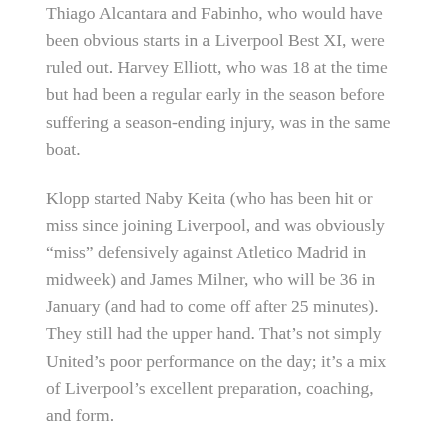Thiago Alcantara and Fabinho, who would have been obvious starts in a Liverpool Best XI, were ruled out. Harvey Elliott, who was 18 at the time but had been a regular early in the season before suffering a season-ending injury, was in the same boat.
Klopp started Naby Keita (who has been hit or miss since joining Liverpool, and was obviously “miss” defensively against Atletico Madrid in midweek) and James Milner, who will be 36 in January (and had to come off after 25 minutes). They still had the upper hand. That’s not simply United’s poor performance on the day; it’s a mix of Liverpool’s excellent preparation, coaching, and form.
[Figure (illustration): Broken image placeholder with alt text: Chelsea-and-Lukaku-too-good-for-Arsenal-Ronaldo-drama-at]